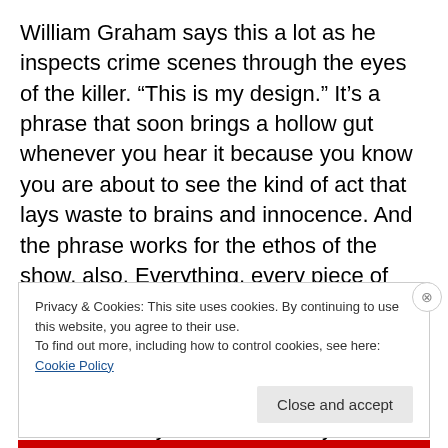William Graham says this a lot as he inspects crime scenes through the eyes of the killer. “This is my design.” It’s a phrase that soon brings a hollow gut whenever you hear it because you know you are about to see the kind of act that lays waste to brains and innocence. And the phrase works for the ethos of the show, also. Everything, every piece of fabric worn, every intricate death tableau, every camera angle, every choice to harder knock the wind from your torso was all by the design of Fuller and his team. And they would not ever yield.
Privacy & Cookies: This site uses cookies. By continuing to use this website, you agree to their use.
To find out more, including how to control cookies, see here: Cookie Policy